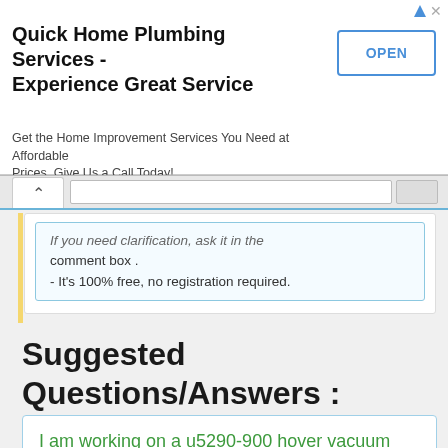[Figure (screenshot): Advertisement banner for Quick Home Plumbing Services with OPEN button]
Quick Home Plumbing Services - Experience Great Service
Get the Home Improvement Services You Need at Affordable Prices. Give Us a Call Today! akhomemaintenanceservice.com
- It's 100% free, no registration required.
Suggested Questions/Answers :
I am working on a u5290-900 hover vacuum ,when operating dust leaks out under dirt cup cover. i put a piece of card board on top of cover so extra presure would be applied to the top of cover. this seams to have stoped the